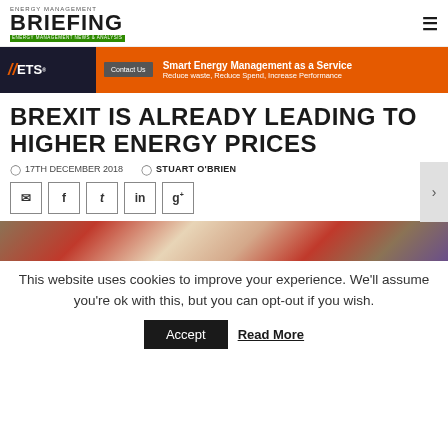ENERGY MANAGEMENT BRIEFING — Energy Management News & Analysis
[Figure (infographic): ETS advertisement banner: Smart Energy Management as a Service — Reduce waste, Reduce Spend, Increase Performance]
BREXIT IS ALREADY LEADING TO HIGHER ENERGY PRICES
17TH DECEMBER 2018  STUART O'BRIEN
[Figure (infographic): Social sharing buttons: email, facebook, twitter, linkedin, google+]
[Figure (photo): Union Jack flag close-up photo]
This website uses cookies to improve your experience. We'll assume you're ok with this, but you can opt-out if you wish.
Accept   Read More